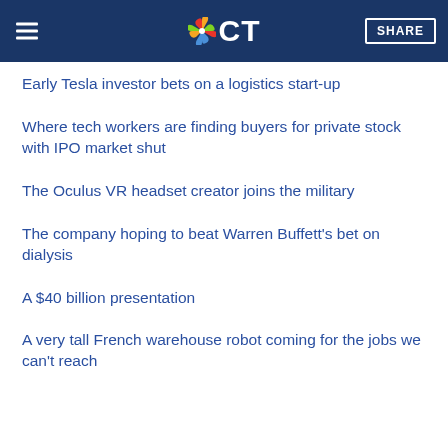CNBC CT | SHARE
Early Tesla investor bets on a logistics start-up
Where tech workers are finding buyers for private stock with IPO market shut
The Oculus VR headset creator joins the military
The company hoping to beat Warren Buffett's bet on dialysis
A $40 billion presentation
A very tall French warehouse robot coming for the jobs we can't reach